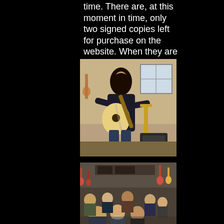time. There are, at this moment in time, only two signed copies left for purchase on the website. When they are gone, there are no more.
[Figure (photo): A person with long dark hair playing an acoustic guitar in what appears to be a music store or shop, with guitars and equipment visible in the background.]
[Figure (photo): An indoor scene in a music store showing an audience or crowd of people, with guitars and musical equipment visible on the walls and shelves in the background.]